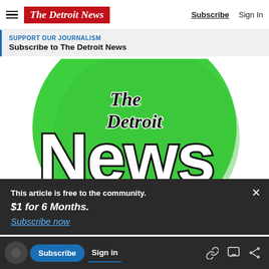The Detroit News — Subscribe | Sign In
SUPPORT OUR JOURNALISM
Subscribe to The Detroit News
[Figure (logo): The Detroit News logo: large green circle with 'The Detroit News' text in black and white stylized lettering]
This article is free to the community.
$1 for 6 Months.
Subscribe now
Already subscribed? Sign in for full access
Subscribe  Sign in